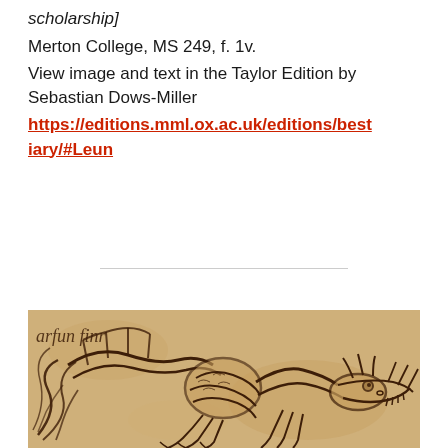scholarship]
Merton College, MS 249, f. 1v.
View image and text in the Taylor Edition by Sebastian Dows-Miller
https://editions.mml.ox.ac.uk/editions/bestiary/#Leun
[Figure (illustration): Medieval manuscript illustration showing a dragon or serpent creature with text 'arfun finr' visible in the upper left corner, drawn in dark ink on aged parchment background]